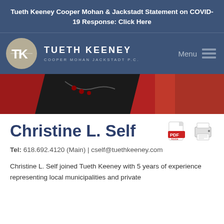Tueth Keeney Cooper Mohan & Jackstadt Statement on COVID-19 Response: Click Here
[Figure (logo): Tueth Keeney Cooper Mohan Jackstadt P.C. law firm logo and navigation bar with menu icon]
[Figure (photo): Cropped photo showing a person in a red blazer with a dark top and necklace]
Christine L. Self
Tel: 618.692.4120 (Main) | cself@tuethkeeney.com
Christine L. Self joined Tueth Keeney with 5 years of experience representing local municipalities and private